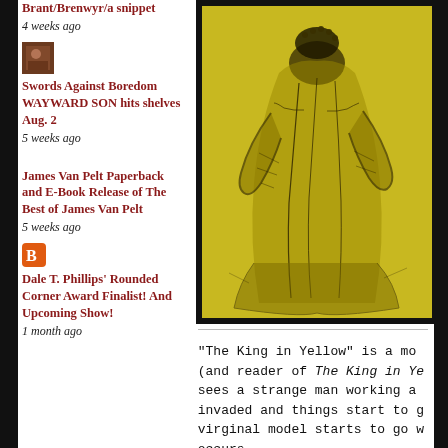Brant/Brenwyr/a snippet – 4 weeks ago
[Figure (photo): Small blog thumbnail image, brownish portrait photo]
Swords Against Boredom WAYWARD SON hits shelves Aug. 2 – 5 weeks ago
James Van Pelt Paperback and E-Book Release of The Best of James Van Pelt – 5 weeks ago
[Figure (illustration): Orange Blogger icon square]
Dale T. Phillips' Rounded Corner Award Finalist! And Upcoming Show! – 1 month ago
[Figure (illustration): Yellow-toned ink drawing of a robed figure, The King in Yellow illustration]
"The King in Yellow" is a mo... (and reader of The King in Ye... sees a strange man working a... invaded and things start to g... virginal model starts to go w... occurs.